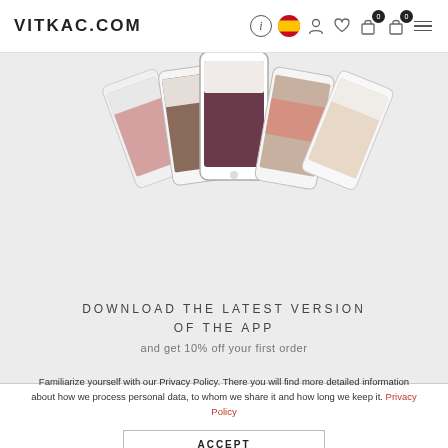VITKAC.COM
[Figure (screenshot): App promotion banner showing multiple smartphones with fashion app screenshots arranged in a 3D fan layout on a light grey background. Text reads: DOWNLOAD THE LATEST VERSION OF THE APP and get 10% off your first order]
Familiarize yourself with our Privacy Policy. There you will find more detailed information about how we process personal data, to whom we share it and how long we keep it. Privacy Policy
ACCEPT